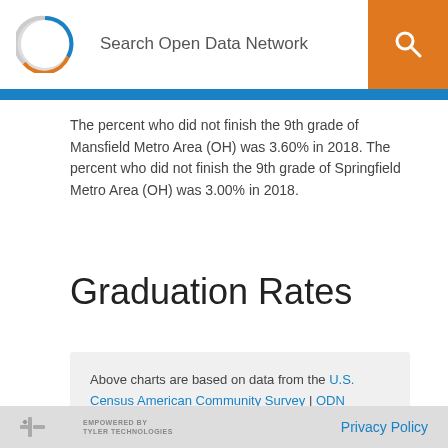Search Open Data Network
The percent who did not finish the 9th grade of Mansfield Metro Area (OH) was 3.60% in 2018. The percent who did not finish the 9th grade of Springfield Metro Area (OH) was 3.00% in 2018.
Graduation Rates
Above charts are based on data from the U.S. Census American Community Survey | ODN Dataset | API -
EMPOWERED BY TYLER TECHNOLOGIES   Privacy Policy